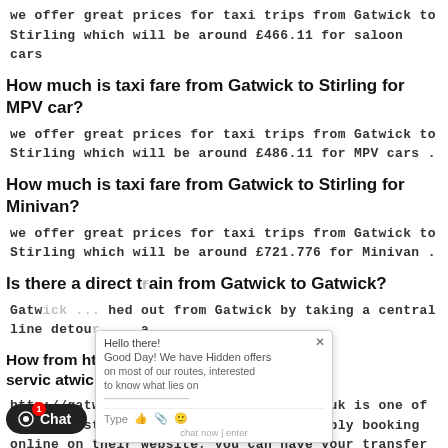we offer great prices for taxi trips from Gatwick to Stirling which will be around £466.11 for saloon cars
How much is taxi fare from Gatwick to Stirling for MPV car?
we offer great prices for taxi trips from Gatwick to Stirling which will be around £486.11 for MPV cars .
How much is taxi fare from Gatwick to Stirling for Minivan?
we offer great prices for taxi trips from Gatwick to Stirling which will be around £721.776 for Minivan .
Is there a direct train from Gatwick to Gatwick?
Gatw... hed out from Gatwick by taking a central line detou... a.
How ... from http://gatwick-airport-taxi-service... atwick?
http://gatwick-airport-taxi-service.co.uk is one of the easiest ... hat can be opted. By simply booking online on their website, you can have your transfer all confirmed within few...